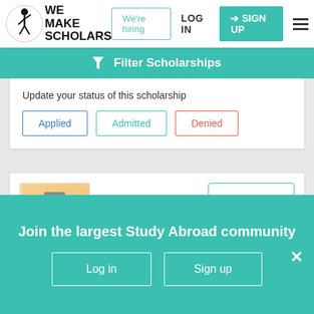[Figure (logo): We Make Scholars logo with circular emblem and text]
We're hiring
LOG IN
SIGN UP
Filter Scholarships
Update your status of this scholarship
Applied
Admitted
Denied
[Figure (logo): Government of India Ministry of Social Justice and Empowerment logo on orange background]
Expires in
53 days
Join the largest Study Abroad community
Log in
Sign up